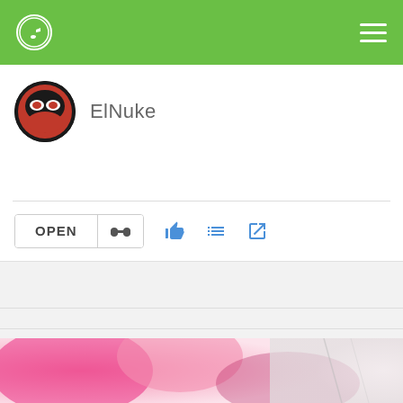ElNuke
OPEN
Collaborations that need Drums
View more
[Figure (photo): Pink floral background image strip at bottom of page]